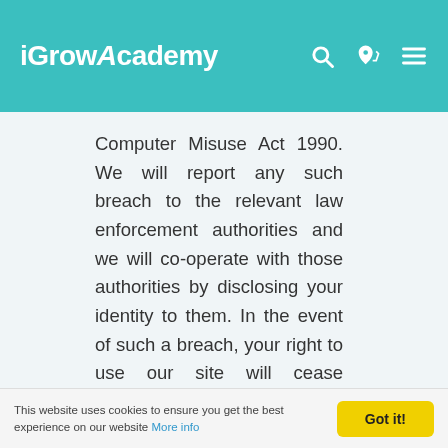iGrowAcademy
Computer Misuse Act 1990. We will report any such breach to the relevant law enforcement authorities and we will co-operate with those authorities by disclosing your identity to them. In the event of such a breach, your right to use our site will cease immediately.
Linking to our site
You may link to our home page,
This website uses cookies to ensure you get the best experience on our website More info  Got it!